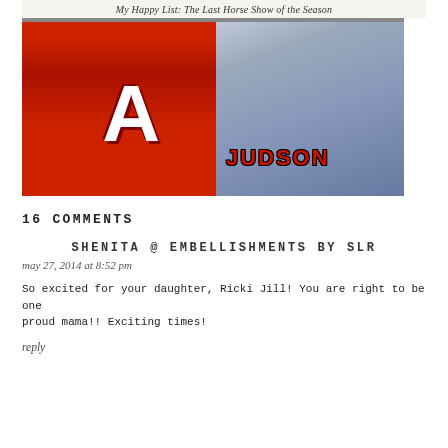[Figure (photo): Blog post thumbnail showing 'My Happy List: The Last Horse Show of the Season' caption bar at top, overlaid on a photo of a person wearing a blue Judson sweatshirt standing next to a red mascot 'A' graphic.]
16 COMMENTS
SHENITA @ EMBELLISHMENTS BY SLR
may 27, 2014 at 8:52 pm
So excited for your daughter, Ricki Jill! You are right to be one proud mama!! Exciting times!
reply